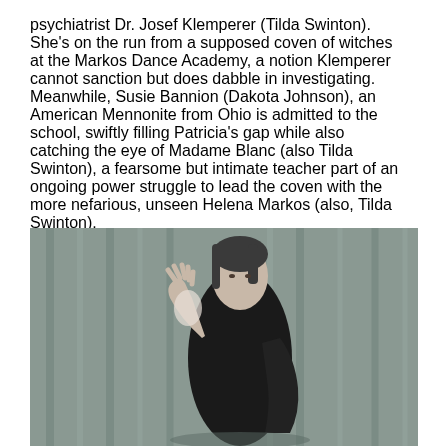psychiatrist Dr. Josef Klemperer (Tilda Swinton). She's on the run from a supposed coven of witches at the Markos Dance Academy, a notion Klemperer cannot sanction but does dabble in investigating. Meanwhile, Susie Bannion (Dakota Johnson), an American Mennonite from Ohio is admitted to the school, swiftly filling Patricia's gap while also catching the eye of Madame Blanc (also Tilda Swinton), a fearsome but intimate teacher part of an ongoing power struggle to lead the coven with the more nefarious, unseen Helena Markos (also, Tilda Swinton).
[Figure (photo): A person wearing a black long-sleeve top stands in front of grey curtains with one hand raised, fingers spread, against a muted teal/grey background. The figure appears pale and angular, in what looks like a dance studio setting.]